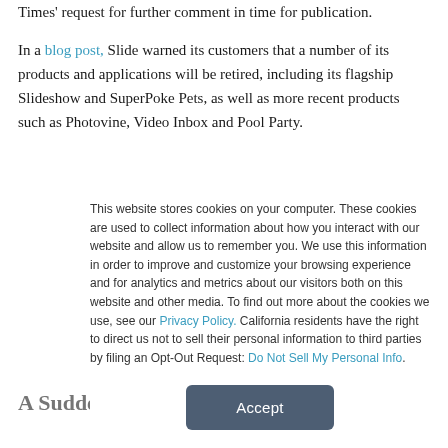Times' request for further comment in time for publication.
In a blog post, Slide warned its customers that a number of its products and applications will be retired, including its flagship Slideshow and SuperPoke Pets, as well as more recent products such as Photovine, Video Inbox and Pool Party.
A Sudden Decision
This website stores cookies on your computer. These cookies are used to collect information about how you interact with our website and allow us to remember you. We use this information in order to improve and customize your browsing experience and for analytics and metrics about our visitors both on this website and other media. To find out more about the cookies we use, see our Privacy Policy. California residents have the right to direct us not to sell their personal information to third parties by filing an Opt-Out Request: Do Not Sell My Personal Info.